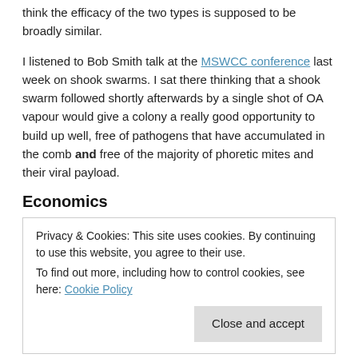think the efficacy of the two types is supposed to be broadly similar.
I listened to Bob Smith talk at the MSWCC conference last week on shook swarms. I sat there thinking that a shook swarm followed shortly afterwards by a single shot of OA vapour would give a colony a really good opportunity to build up well, free of pathogens that have accumulated in the comb and free of the majority of phoretic mites and their viral payload.
Economics
Privacy & Cookies: This site uses cookies. By continuing to use this website, you agree to their use.
To find out more, including how to control cookies, see here: Cookie Policy
[Close and accept]
dihydrate powder in bulk (not from Thorne's) is about £20 for